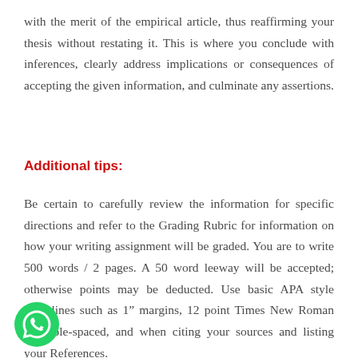with the merit of the empirical article, thus reaffirming your thesis without restating it. This is where you conclude with inferences, clearly address implications or consequences of accepting the given information, and culminate any assertions.
Additional tips:
Be certain to carefully review the information for specific directions and refer to the Grading Rubric for information on how your writing assignment will be graded. You are to write 500 words / 2 pages. A 50 word leeway will be accepted; otherwise points may be deducted. Use basic APA style guidelines such as 1” margins, 12 point Times New Roman font, ble-spaced, and when citing your sources and listing your References.
[Figure (illustration): WhatsApp logo icon — green circle with white phone handset]